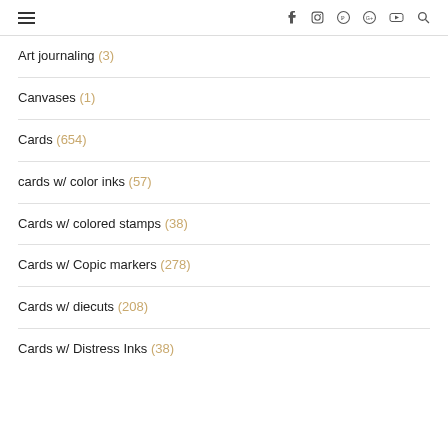Navigation header with hamburger menu and social icons
Art journaling (3)
Canvases (1)
Cards (654)
cards w/ color inks (57)
Cards w/ colored stamps (38)
Cards w/ Copic markers (278)
Cards w/ diecuts (208)
Cards w/ Distress Inks (38)